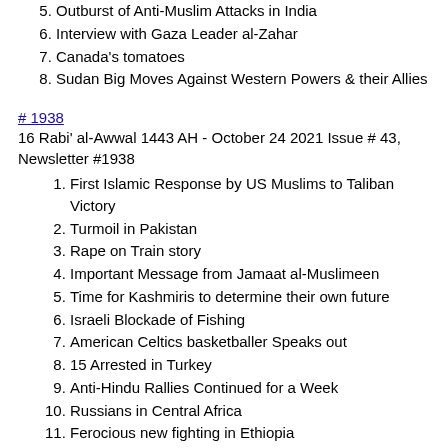5. Outburst of Anti-Muslim Attacks in India
6. Interview with Gaza Leader al-Zahar
7. Canada's tomatoes
8. Sudan Big Moves Against Western Powers & their Allies
# 1938
16 Rabi' al-Awwal 1443 AH - October 24 2021 Issue # 43, Newsletter #1938
1. First Islamic Response by US Muslims to Taliban Victory
2. Turmoil in Pakistan
3. Rape on Train story
4. Important Message from Jamaat al-Muslimeen
5. Time for Kashmiris to determine their own future
6. Israeli Blockade of Fishing
7. American Celtics basketballer Speaks out
8. 15 Arrested in Turkey
9. Anti-Hindu Rallies Continued for a Week
10. Russians in Central Africa
11. Ferocious new fighting in Ethiopia
# 1937
9 Rabi' al-Awwal 1443 AH - October 17 2021 Issue # 42, Newsletter #1937